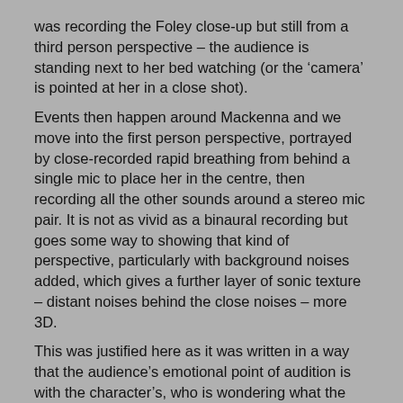was recording the Foley close-up but still from a third person perspective – the audience is standing next to her bed watching (or the 'camera' is pointed at her in a close shot).
Events then happen around Mackenna and we move into the first person perspective, portrayed by close-recorded rapid breathing from behind a single mic to place her in the centre, then recording all the other sounds around a stereo mic pair. It is not as vivid as a binaural recording but goes some way to showing that kind of perspective, particularly with background noises added, which gives a further layer of sonic texture – distant noises behind the close noises – more 3D.
This was justified here as it was written in a way that the audience's emotional point of audition is with the character's, who is wondering what the hell is going on! In this case the writer (Chris Burnside) was also the director and liked this approach as much as